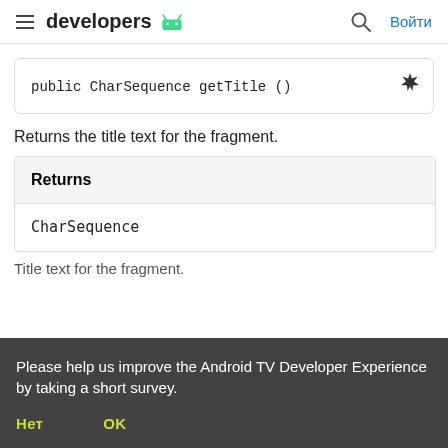developers — Войти
Returns the title text for the fragment.
| Returns |
| --- |
| CharSequence |
Title text for the fragment.
Please help us improve the Android TV Developer Experience by taking a short survey.
Нет
OK